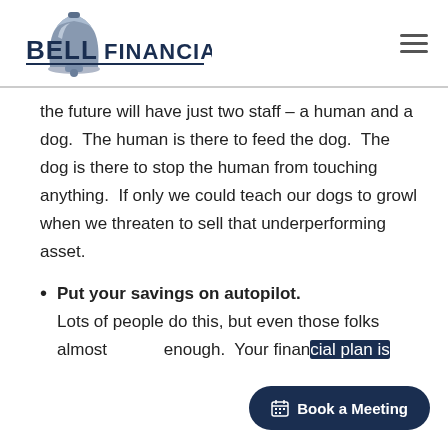BELL FINANCIAL
the future will have just two staff – a human and a dog.  The human is there to feed the dog.  The dog is there to stop the human from touching anything.  If only we could teach our dogs to growl when we threaten to sell that underperforming asset.
Put your savings on autopilot. Lots of people do this, but even those folks almost enough.  Your financial plan is